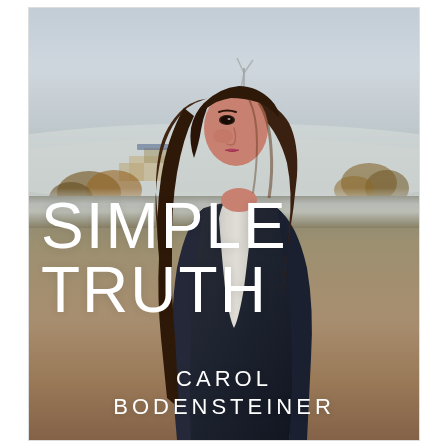[Figure (photo): Book cover for 'Simple Truth' by Carol Bodensteiner. A young woman with long dark hair wearing a dark navy coat and light grey scarf stands with her back partially turned, looking over her shoulder toward the camera. The background shows a misty rural European landscape with rolling fields, autumn trees, a small town or village with yellow buildings, and a wind turbine visible in the fog. The cover has large white thin-font title text 'SIMPLE TRUTH' in the lower-center area and the author name 'CAROL BODENSTEINER' in white at the bottom.]
SIMPLE TRUTH
CAROL BODENSTEINER